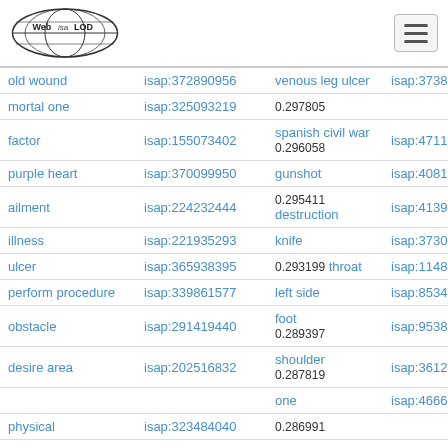Web Isa LOD [logo] [hamburger menu]
| term | isap id | term | isap id |
| --- | --- | --- | --- |
| old wound | isap:372890956 | venous leg ulcer | isap:373811125 |
| mortal one | isap:325093219 | 0.297805 |  |
| factor | isap:155073402 | spanish civil war / 0.296058 | isap:471134141 |
| purple heart | isap:370099950 | gunshot | isap:40810279 |
| ailment | isap:224232444 | 0.295411 destruction | isap:413938276 |
| illness | isap:221935293 | knife | isap:373075290 |
| ulcer | isap:365938395 | 0.293199 throat | isap:114862695 |
| perform procedure | isap:339861577 | left side | isap:85342560 |
| obstacle | isap:291419440 | foot / 0.289397 | isap:95384470 |
| desire area | isap:202516832 | shoulder / 0.287819 | isap:361242308 |
|  |  | one | isap:466613999 |
| physical | isap:323484040 | 0.286991 |  |